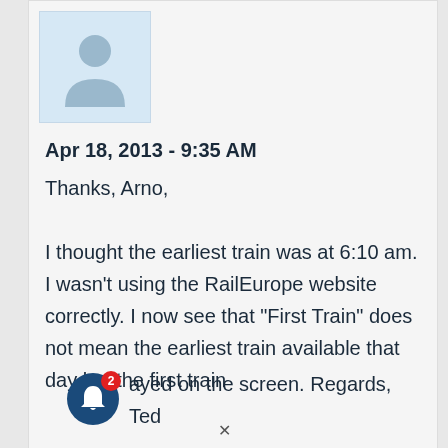[Figure (illustration): User avatar placeholder icon — grey silhouette of a person on light blue background]
Apr 18, 2013 - 9:35 AM
Thanks, Arno,

I thought the earliest train was at 6:10 am. I wasn't using the RailEurope website correctly. I now see that "First Train" does not mean the earliest train available that day but the first train displayed on the screen. Regards, Ted